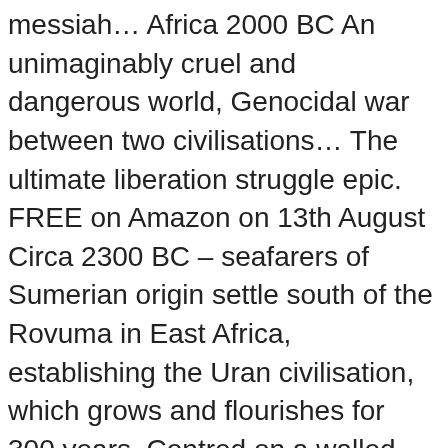messiah… Africa 2000 BC An unimaginably cruel and dangerous world, Genocidal war between two civilisations… The ultimate liberation struggle epic. FREE on Amazon on 13th August Circa 2300 BC – seafarers of Sumerian origin settle south of the Rovuma in East Africa, establishing the Uran civilisation, which grows and flourishes for 300 years. Centred on a walled city in Mozambique, a horse centred, hunting, metal working culture develops. Four hundred miles to the north, around 2070 BC, a huge maritime expedition from Egypt reaches Tanzania. They establish a great capital south of the Rufiji river. Seventy years later, these empire builders destroy the Uran capital Avara. A child is found in the ashes. The story begins… At twenty, that child unites the most gifted men of his generation, against those who brought their civilisation to the brink of annihilation. This is the story of the Uran's astonishing war against